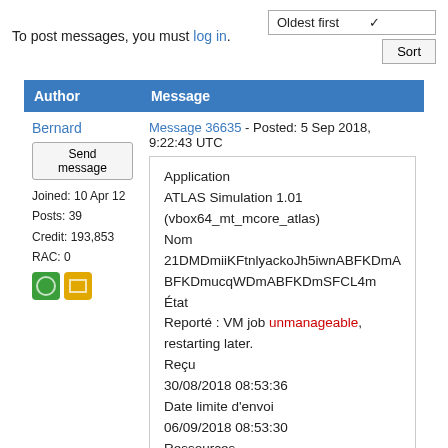To post messages, you must log in.
Oldest first
| Author | Message |
| --- | --- |
| Bernard
Send message
Joined: 10 Apr 12
Posts: 39
Credit: 193,853
RAC: 0 | Message 36635 - Posted: 5 Sep 2018, 9:22:43 UTC
Application
ATLAS Simulation 1.01
(vbox64_mt_mcore_atlas)
Nom
21DMDmiiKFtnlyackoJh5iwnABFKDmABFKDmucqWDmABFKDmSFCL4m
État
Reporté : VM job unmanageable, restarting later.
Reçu
30/08/2018 08:53:36
Date limite d'envoi
06/09/2018 08:53:30
Ressources |